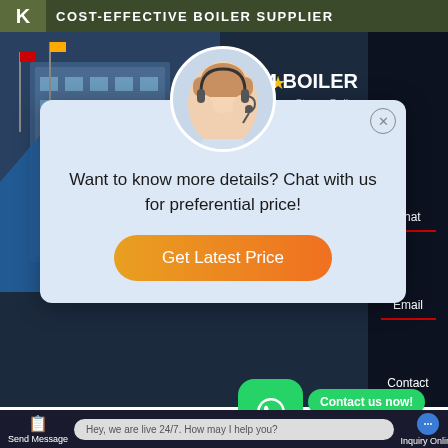COST-EFFECTIVE BOILER SUPPLIER
[Figure (screenshot): Website screenshot showing a boiler supplier page with a chat popup overlay. The popup features a customer service agent, stars decoration, message 'Want to know more details? Chat with us for preferential price!' and a 'Get Latest Price' button. Background shows building image and Steam Boiler product info. Bottom shows WhatsApp contact buttons and a live chat bar saying 'Hey, we are live 24/7. How may I help you?']
Two Ton Gas B...
Contact us now!
Hey, we are live 24/7. How may I help you?
Send Message
Inquiry Online